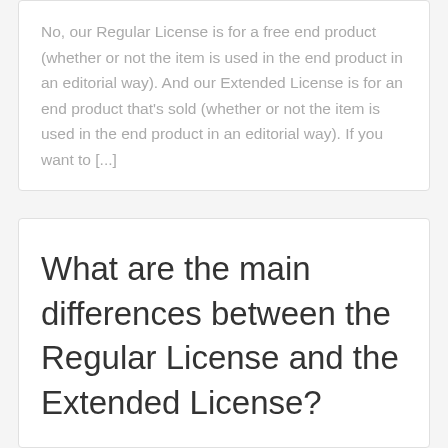No, our Regular License is for a free end product (whether or not the item is used in the end product in an editorial way). And our Extended License is for an end product that's sold (whether or not the item is used in the end product in an editorial way). If you want to [...]
What are the main differences between the Regular License and the Extended License?